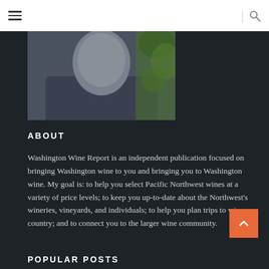≡  |  🔍
[Figure (photo): Portrait photo of a person wearing a dark collared shirt, with green foliage visible in the background. Photo is cropped to show head and upper shoulders.]
ABOUT
Washington Wine Report is an independent publication focused on bringing Washington wine to you and bringing you to Washington wine. My goal is: to help you select Pacific Northwest wines at a variety of price levels; to keep you up-to-date about the Northwest's wineries, vineyards, and individuals; to help you plan trips to wine country; and to connect you to the larger wine community.
POPULAR POSTS